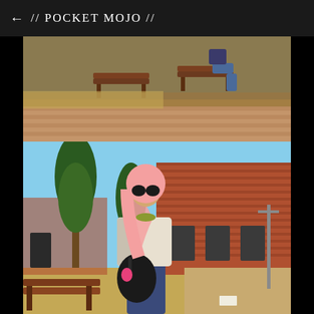← // POCKET MOJO //
[Figure (photo): Outdoor scene showing a person sitting on a bench in a paved plaza area with brick walkways and park benches visible from above/distance.]
[Figure (photo): Woman wearing a pink hijab, sunglasses, white jacket, pink sweater, and navy skirt, carrying a black bag, standing outdoors in front of a red brick building with pine trees and shrubbery visible.]